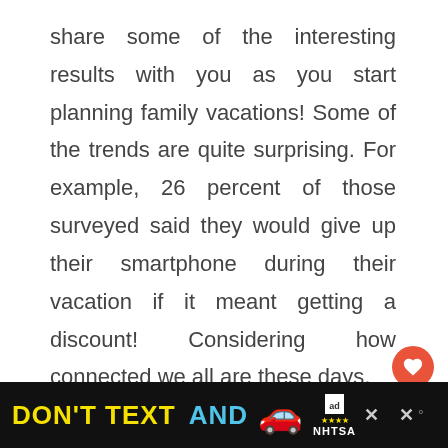share some of the interesting results with you as you start planning family vacations! Some of the trends are quite surprising. For example, 26 percent of those surveyed said they would give up their smartphone during their vacation if it meant getting a discount! Considering how connected we all are these days,
[Figure (infographic): Advertisement banner at bottom: black background with yellow text 'DON'T TEXT' and cyan text 'AND' followed by a red car emoji, an 'ad' logo box, NHTSA logo in white text with star rating icons, and two close/dismiss icons on the right.]